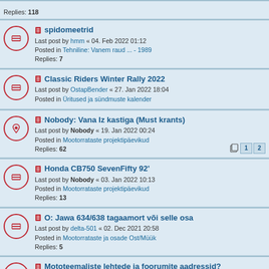Replies: 118 | pages: 1 2 3
spidomeetrid | Last post by hmm « 04. Feb 2022 01:12 | Posted in Tehniline: Vanem raud ... - 1989 | Replies: 7
Classic Riders Winter Rally 2022 | Last post by OstapBender « 27. Jan 2022 18:04 | Posted in Üritused ja sündmuste kalender
Nobody: Vana Iz kastiga (Must krants) | Last post by Nobody « 19. Jan 2022 00:24 | Posted in Mootorrataste projektipäevikud | Replies: 62 | pages: 1 2
Honda CB750 SevenFifty 92' | Last post by Nobody « 03. Jan 2022 10:13 | Posted in Mootorrataste projektipäevikud | Replies: 13
O: Jawa 634/638 tagaamort või selle osa | Last post by delta-501 « 02. Dec 2021 20:58 | Posted in Mootorrataste ja osade Ost/Müük | Replies: 5
Mototeemaliste lehtede ja foorumite aadressid? | Last post by tom « 23. Nov 2021 11:49 | Posted in Üldine motomaailm | Replies: 10
Teine 638(639) | Last post by v301060 « 20. Nov 2021 18:42 | Posted in Mootorrataste projektipäevikud | Replies: 374 | pages: 6 7 8 9